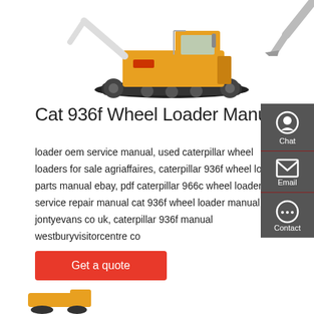[Figure (illustration): Yellow construction excavator/crawler machine on white background, partially cropped. A second excavator bucket arm is visible in the top right corner.]
Cat 936f Wheel Loader Manual
loader oem service manual, used caterpillar wheel loaders for sale agriaffaires, caterpillar 936f wheel loader parts manual ebay, pdf caterpillar 966c wheel loader service repair manual cat 936f wheel loader manual jontyevans co uk, caterpillar 936f manual westburyvisitorcentre co
Get a quote
[Figure (illustration): Partial view of a yellow construction machine at the bottom of the page.]